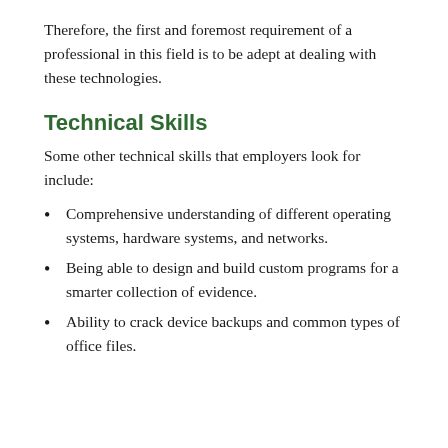Therefore, the first and foremost requirement of a professional in this field is to be adept at dealing with these technologies.
Technical Skills
Some other technical skills that employers look for include:
Comprehensive understanding of different operating systems, hardware systems, and networks.
Being able to design and build custom programs for a smarter collection of evidence.
Ability to crack device backups and common types of office files.